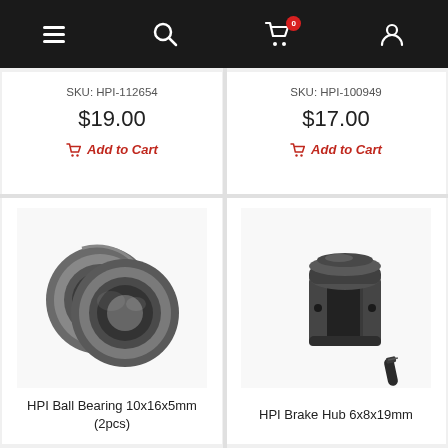Navigation bar with menu, search, cart (0 items), and account icons
SKU: HPI-112654
$19.00
Add to Cart
SKU: HPI-100949
$17.00
Add to Cart
[Figure (photo): Two HPI ball bearings (10x16x5mm), metallic gray, shown overlapping on white background]
HPI Ball Bearing 10x16x5mm (2pcs)
[Figure (photo): HPI Brake Hub 6x8x19mm, black metal component with slot opening and a small set screw beside it]
HPI Brake Hub 6x8x19mm